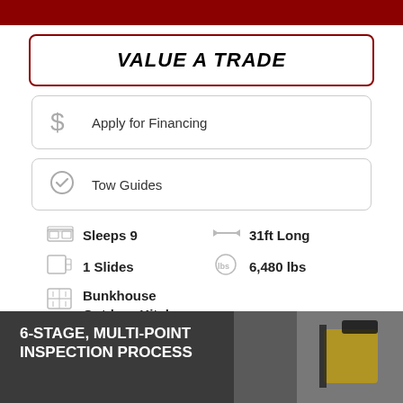VALUE A TRADE
Apply for Financing
Tow Guides
Sleeps 9
31ft Long
1 Slides
6,480 lbs
Bunkhouse
Outdoor Kitchen
6-STAGE, MULTI-POINT INSPECTION PROCESS